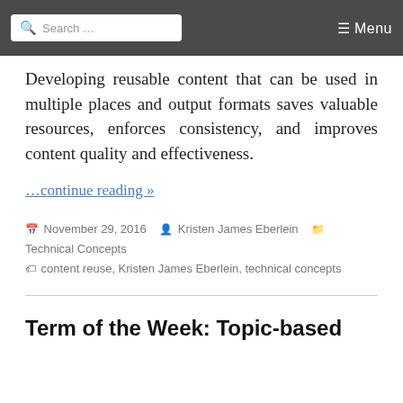Search ... Menu
Developing reusable content that can be used in multiple places and output formats saves valuable resources, enforces consistency, and improves content quality and effectiveness.
…continue reading »
November 29, 2016  Kristen James Eberlein  Technical Concepts  content reuse, Kristen James Eberlein, technical concepts
Term of the Week: Topic-based